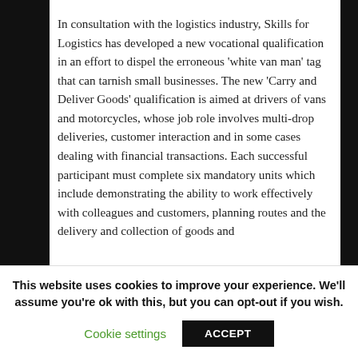In consultation with the logistics industry, Skills for Logistics has developed a new vocational qualification in an effort to dispel the erroneous 'white van man' tag that can tarnish small businesses. The new 'Carry and Deliver Goods' qualification is aimed at drivers of vans and motorcycles, whose job role involves multi-drop deliveries, customer interaction and in some cases dealing with financial transactions. Each successful participant must complete six mandatory units which include demonstrating the ability to work effectively with colleagues and customers, planning routes and the delivery and collection of goods and
This website uses cookies to improve your experience. We'll assume you're ok with this, but you can opt-out if you wish.
Cookie settings   ACCEPT